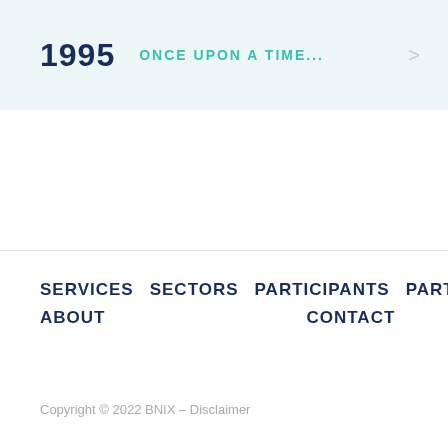1995  ONCE UPON A TIME...
SERVICES  SECTORS  PARTICIPANTS  PARTNERS  NEWS  ABOUT  CONTACT
Copyright © 2022 BNIX – Disclaimer